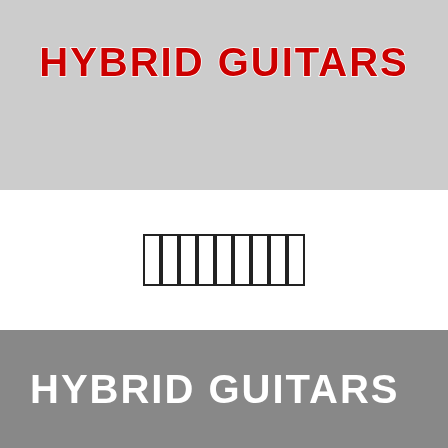HYBRID GUITARS
[Figure (other): Barcode-style rectangular blocks in a row on white background]
HYBRID GUITARS